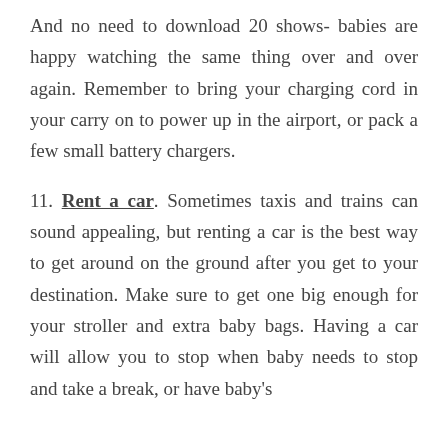And no need to download 20 shows- babies are happy watching the same thing over and over again. Remember to bring your charging cord in your carry on to power up in the airport, or pack a few small battery chargers.
11. Rent a car. Sometimes taxis and trains can sound appealing, but renting a car is the best way to get around on the ground after you get to your destination. Make sure to get one big enough for your stroller and extra baby bags. Having a car will allow you to stop when baby needs to stop and take a break, or have baby's